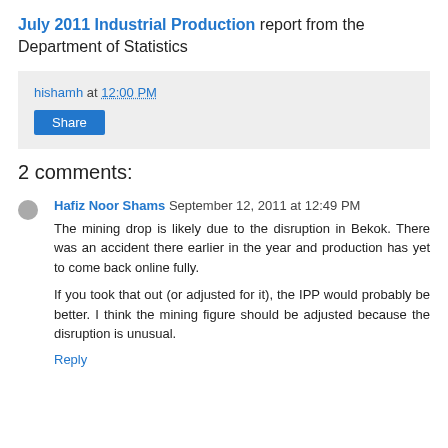July 2011 Industrial Production report from the Department of Statistics
hishamh at 12:00 PM
Share
2 comments:
Hafiz Noor Shams   September 12, 2011 at 12:49 PM
The mining drop is likely due to the disruption in Bekok. There was an accident there earlier in the year and production has yet to come back online fully.
If you took that out (or adjusted for it), the IPP would probably be better. I think the mining figure should be adjusted because the disruption is unusual.
Reply